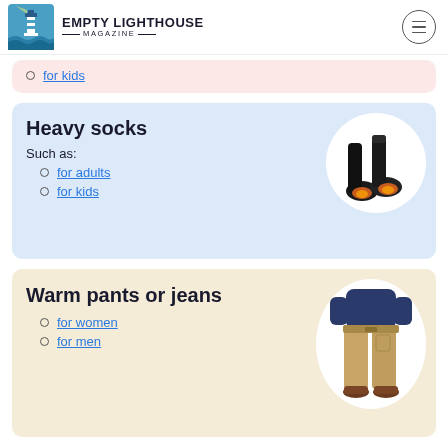Empty Lighthouse Magazine
for kids
Heavy socks
Such as:
for adults
for kids
[Figure (photo): Black heated socks with orange glowing soles]
Warm pants or jeans
for women
for men
[Figure (photo): Person wearing tan/khaki cargo pants with dark navy top and brown boots]